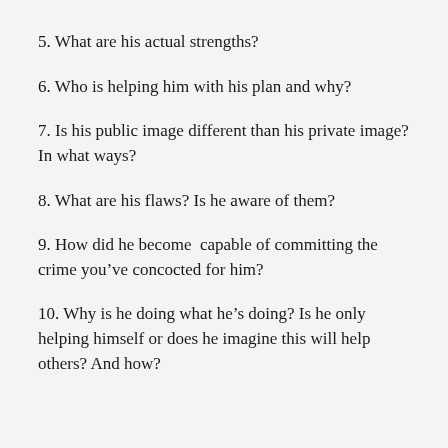5. What are his actual strengths?
6. Who is helping him with his plan and why?
7. Is his public image different than his private image? In what ways?
8. What are his flaws? Is he aware of them?
9. How did he become  capable of committing the crime you’ve concocted for him?
10. Why is he doing what he’s doing? Is he only helping himself or does he imagine this will help others? And how?